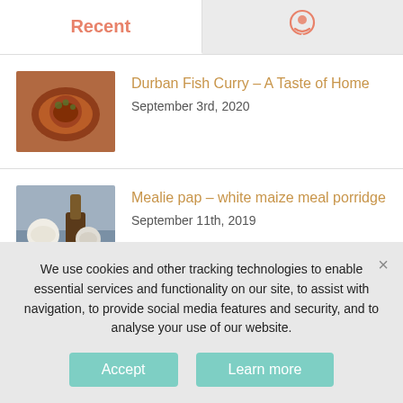Recent
[Figure (illustration): Chat/comments icon (speech bubble with person)]
Durban Fish Curry – A Taste of Home
September 3rd, 2020
Mealie pap – white maize meal porridge
September 11th, 2019
Matsvnis Soup – a Georgian Centenarian Secret
September 11th, 2019
We use cookies and other tracking technologies to enable essential services and functionality on our site, to assist with navigation, to provide social media features and security, and to analyse your use of our website.